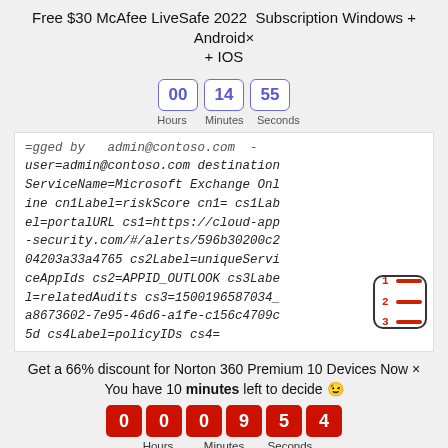Free $30 McAfee LiveSafe 2022 Subscription Windows + Android× + IOS
[Figure (other): Countdown timer showing 00 hours 14 minutes 55 seconds with blue bordered boxes]
=gged by admin@contoso.com user=admin@contoso.com destination ServiceName=Microsoft Exchange Online cn1Label=riskScore cn1= cs1Label=portalURL cs1=https://cloud-app-security.com/#/alerts/596b30200c204203a33a4765 cs2Label=uniqueServiceAppIds cs2=APPID_OUTLOOK cs3Label=relatedAudits cs3=1500196587034_a8673602-7e95-46d6-a1fe-c156c4709c5d cs4Label=policyIDs cs4=
Get a 66% discount for Norton 360 Premium 10 Devices Now × You have 10 minutes left to decide 😉
[Figure (other): Countdown timer showing 00 hours 09 minutes 54 seconds with red background boxes]